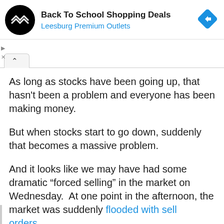[Figure (logo): Ad banner with black circular logo with double chevron/arrow icon, title 'Back To School Shopping Deals', subtitle 'Leesburg Premium Outlets', and a blue diamond navigation icon on the right. Small play and close icons on the left.]
As long as stocks have been going up, that hasn't been a problem and everyone has been making money.
But when stocks start to go down, suddenly that becomes a massive problem.
And it looks like we may have had some dramatic “forced selling” in the market on Wednesday.  At one point in the afternoon, the market was suddenly flooded with sell orders…